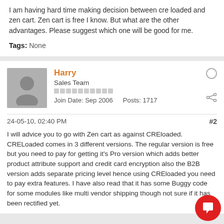I am having hard time making decision between cre loaded and zen cart. Zen cart is free I know. But what are the other advantages. Please suggest which one will be good for me.
Tags: None
Harry
Sales Team
Join Date: Sep 2006   Posts: 1717
24-05-10, 02:40 PM
#2
I will advice you to go with Zen cart as against CREloaded.
CRELoaded comes in 3 different versions. The regular version is free but you need to pay for getting it's Pro version which adds better product attribute support and credit card encryption also the B2B version adds separate pricing level hence using CREloaded you need to pay extra features. I have also read that it has some Buggy code for some modules like multi vendor shipping though not sure if it has been rectified yet.